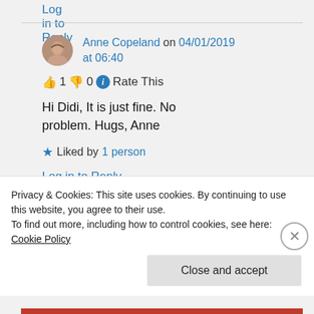Log in to Reply
Anne Copeland on 04/01/2019 at 06:40
👍 1 👎 0 ℹ Rate This
Hi Didi, It is just fine. No problem. Hugs, Anne
★ Liked by 1 person
Log in to Reply
Privacy & Cookies: This site uses cookies. By continuing to use this website, you agree to their use.
To find out more, including how to control cookies, see here: Cookie Policy
Close and accept